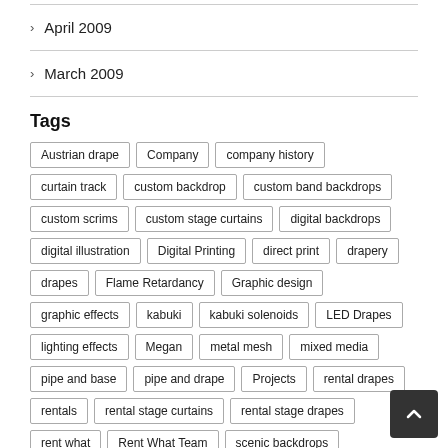April 2009
March 2009
Tags
Austrian drape
Company
company history
curtain track
custom backdrop
custom band backdrops
custom scrims
custom stage curtains
digital backdrops
digital illustration
Digital Printing
direct print
drapery
drapes
Flame Retardancy
Graphic design
graphic effects
kabuki
kabuki solenoids
LED Drapes
lighting effects
Megan
metal mesh
mixed media
pipe and base
pipe and drape
Projects
rental drapes
rentals
rental stage curtains
rental stage drapes
rent what
Rent What Team
scenic backdrops
Sew What Team
staff
stage backdrops